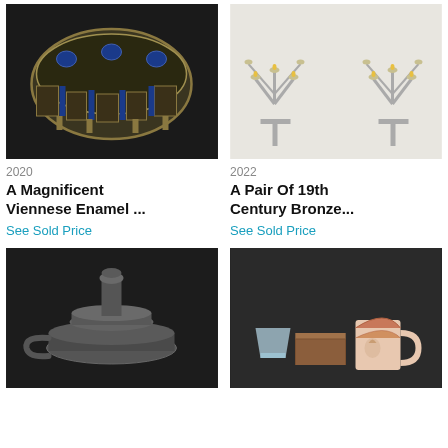[Figure (photo): A Magnificent Viennese Enamel decorative box, dark background, with 'Sold' badge]
[Figure (photo): A Pair Of 19th Century Bronze candelabras, light background, with 'Sold' badge]
2020
2022
A Magnificent Viennese Enamel ...
A Pair Of 19th Century Bronze...
See Sold Price
See Sold Price
[Figure (photo): A pewter candlestick holder, dark background, with 'Sold' badge]
[Figure (photo): A group of small antique items including a crystal inkwell, wooden box and ceramic mug, dark background, with 'Sold' badge]